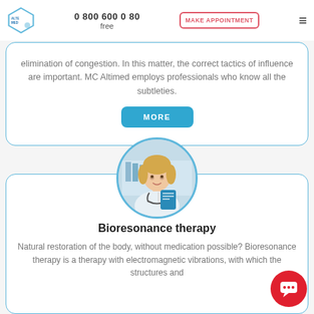0 800 600 0 80 free | MAKE APPOINTMENT
elimination of congestion. In this matter, the correct tactics of influence are important. MC Altimed employs professionals who know all the subtleties.
[Figure (photo): A female doctor in a white coat with a stethoscope, writing notes while looking at the camera, inside a circular frame with a blue border.]
Bioresonance therapy
Natural restoration of the body, without medication possible? Bioresonance therapy is a therapy with electromagnetic vibrations, with which the structures and